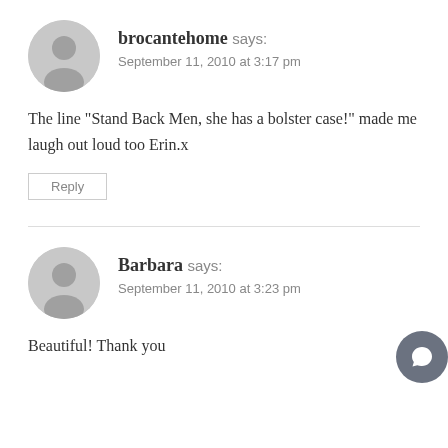brocantehome says:
September 11, 2010 at 3:17 pm
The line "Stand Back Men, she has a bolster case!" made me laugh out loud too Erin.x
Reply
Barbara says:
September 11, 2010 at 3:23 pm
Beautiful! Thank you